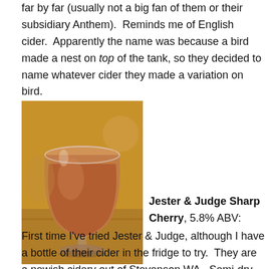far by far (usually not a big fan of them or their subsidiary Anthem).  Reminds me of English cider.  Apparently the name was because a bird made a nest on top of the tank, so they decided to name whatever cider they made a variation on bird.
[Figure (photo): A glass of amber/orange-pink cider in a goblet-style glass sitting on a wooden surface]
Jester & Judge Sharp Cherry, 5.8% ABV: First time I've tried Jester & Judge, although I have a bottle of their cider in the fridge to try.  They are a newish cidery out of Stevenson WA.  Semi-dry.  Orange/pink hue.  Very very mild cherry.  Some tartness.  Overall kinda blah.